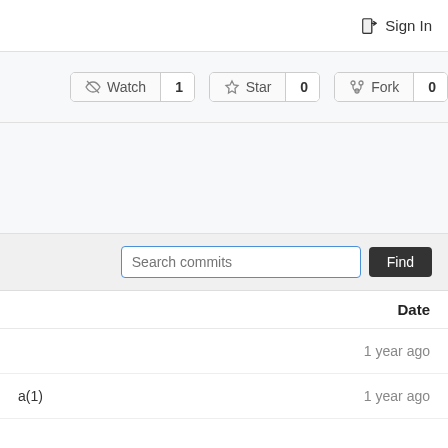Sign In
Watch 1   Star 0   Fork 0
Search commits  Find
| Date |
| --- |
| 1 year ago |
| 1 year ago |
a(1)